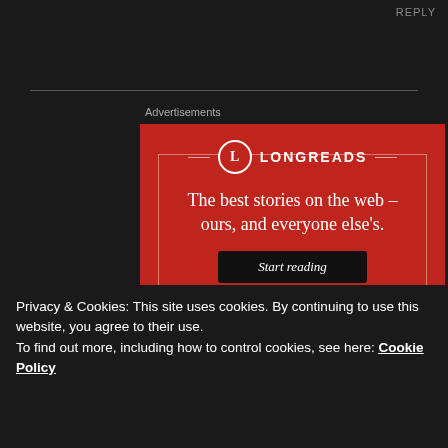REPLY
Advertisements
[Figure (illustration): Longreads advertisement banner on red background. Shows Longreads logo (circle with L), tagline 'The best stories on the web – ours, and everyone else's.' and a 'Start reading' button.]
Privacy & Cookies: This site uses cookies. By continuing to use this website, you agree to their use.
To find out more, including how to control cookies, see here: Cookie Policy
Close and Accept